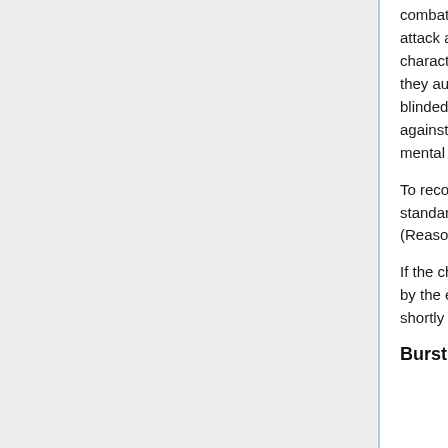combat, a blinded character incurs a penalty die on their attack and defense rolls. In ranged combat, a blinded character incurs a penalty die on their defense rolls, but they automatically fail any ranged combat attack rolls. A blinded character suffers no penalty when defending against mental attacks, but they automatically fail any mental combat attack rolls.
To recover from a blinding attack, the target must use a standard action to make a challenging (DV 3) Perception (Reason) roll.
If the character has not recovered from the blinding attack by the end of the scene, then they recover their senses shortly thereafter.
Burst Fire